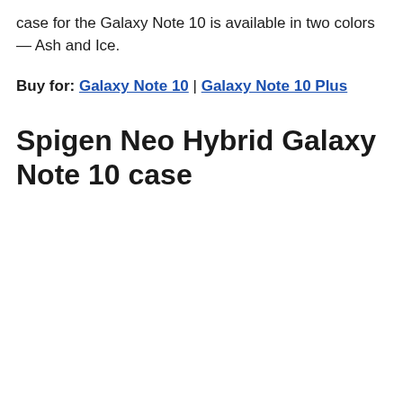case for the Galaxy Note 10 is available in two colors — Ash and Ice.
Buy for: Galaxy Note 10 | Galaxy Note 10 Plus
Spigen Neo Hybrid Galaxy Note 10 case